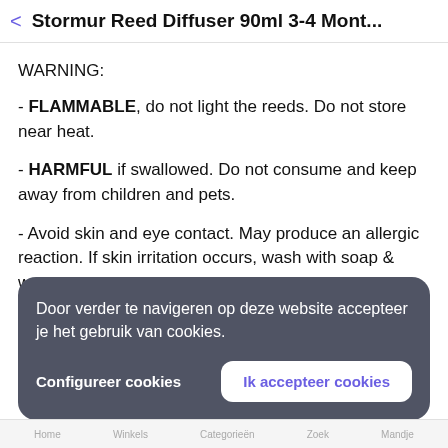< Stormur Reed Diffuser 90ml 3-4 Mont...
WARNING:
- FLAMMABLE, do not light the reeds. Do not store near heat.
- HARMFUL if swallowed. Do not consume and keep away from children and pets.
- Avoid skin and eye contact. May produce an allergic reaction. If skin irritation occurs, wash with soap & water.
Door verder te navigeren op deze website accepteer je het gebruik van cookies.
Configureer cookies   Ik accepteer cookies
Home   Winkels   Categorieën   Zoek   Mandje